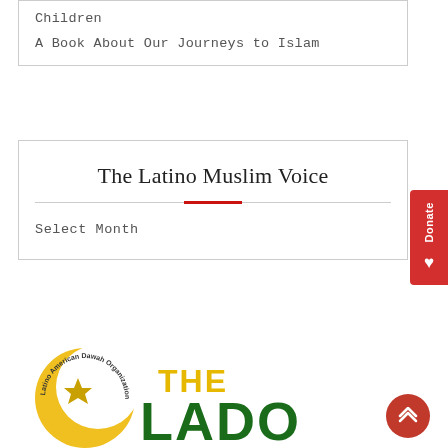Children
A Book About Our Journeys to Islam
The Latino Muslim Voice
Select Month
[Figure (logo): Latino American Dawah Organization (LADO) logo with crescent moon and star in yellow/gold, circular text reading 'Latino American Dawah Organization', and large green text 'THE LADO']